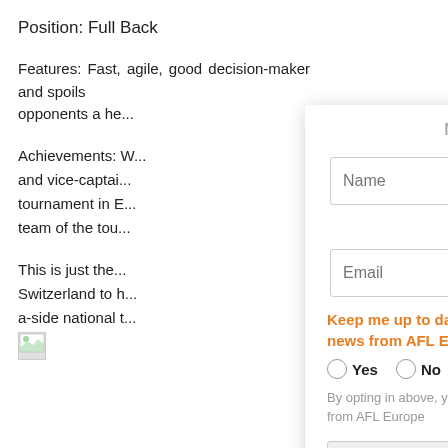Position: Full Back
Features: Fast, agile, good decision-maker and spoils opponents a he...
Achievements: W... and vice-captai... tournament in E... team of the tou...
This is just the... Switzerland to h... a-side national t...
[Figure (screenshot): Modal dialog with Name and Email fields, newsletter opt-in radio buttons, and Subscribe button. CLOSE button in teal top right.]